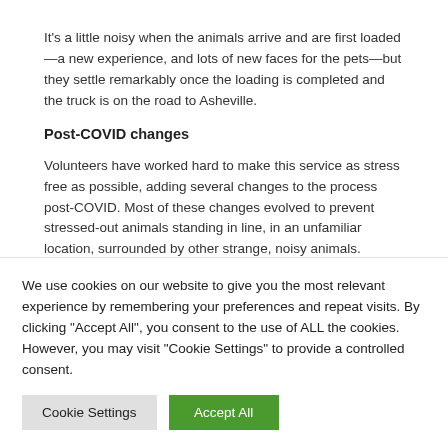It’s a little noisy when the animals arrive and are first loaded—a new experience, and lots of new faces for the pets—but they settle remarkably once the loading is completed and the truck is on the road to Asheville.
Post-COVID changes
Volunteers have worked hard to make this service as stress free as possible, adding several changes to the process post-COVID. Most of these changes evolved to prevent stressed-out animals standing in line, in an unfamiliar location, surrounded by other strange, noisy animals.
We use cookies on our website to give you the most relevant experience by remembering your preferences and repeat visits. By clicking “Accept All”, you consent to the use of ALL the cookies. However, you may visit "Cookie Settings" to provide a controlled consent.